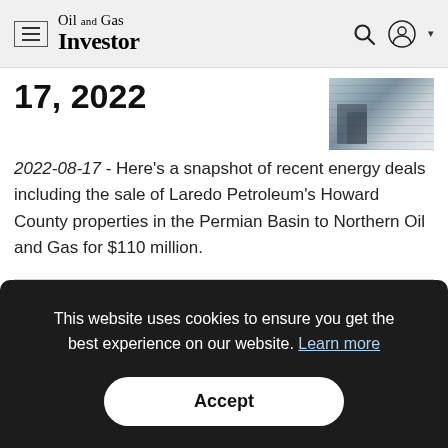Oil and Gas Investor
17, 2022
2022-08-17 - Here's a snapshot of recent energy deals including the sale of Laredo Petroleum's Howard County properties in the Permian Basin to Northern Oil and Gas for $110 million.
This website uses cookies to ensure you get the best experience on our website. Learn more
Accept